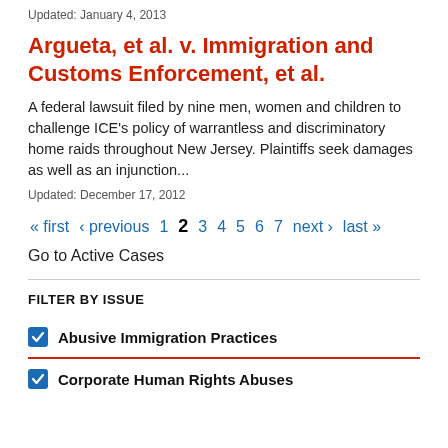Updated: January 4, 2013
Argueta, et al. v. Immigration and Customs Enforcement, et al.
A federal lawsuit filed by nine men, women and children to challenge ICE's policy of warrantless and discriminatory home raids throughout New Jersey. Plaintiffs seek damages as well as an injunction...
Updated: December 17, 2012
« first ‹ previous 1 2 3 4 5 6 7 next › last »
Go to Active Cases
FILTER BY ISSUE
Abusive Immigration Practices
Corporate Human Rights Abuses